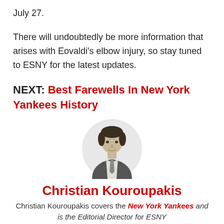July 27.
There will undoubtedly be more information that arises with Eovaldi's elbow injury, so stay tuned to ESNY for the latest updates.
NEXT: Best Farewells In New York Yankees History
[Figure (photo): Black and white headshot photo of Christian Kouroupakis]
Christian Kouroupakis
Christian Kouroupakis covers the New York Yankees and is the Editorial Director for ESNY